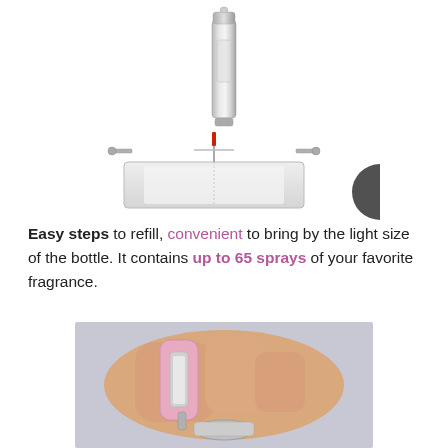[Figure (photo): Silver/metallic perfume travel spray pen bottle shown vertically]
[Figure (photo): Refill mechanism showing a small fragrance bottle being attached to a refill adapter with a red nozzle pin]
Easy steps to refill, convenient to bring by the light size of the bottle. It contains up to 65 sprays of your favorite fragrance.
[Figure (photo): Hands holding a pink travel perfume atomizer bottle being refilled from a larger fragrance bottle]